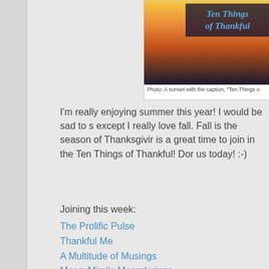[Figure (photo): A sunset photo with the caption 'Ten Things of Thankful' overlaid in blue bold italic text on a dark background]
Photo: A sunset with the caption, "Ten Things o
I'm really enjoying summer this year! I would be sad to s except I really love fall. Fall is the season of Thanksgiving is a great time to join in the Ten Things of Thankful! Do us today! :-)
Joining this week:
The Prolific Pulse
Thankful Me
A Multitude of Musings
MessyMimi's Meanderings
The Wakefield Doctrine
Carin's Gratitude